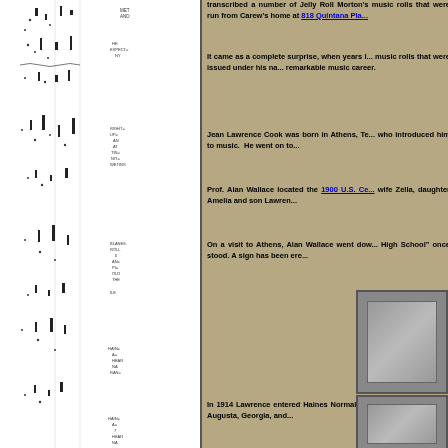[Figure (other): Piano roll with musical notation marks, dots and bars on white background with small text annotations]
transcribed a number of Jelly Roll Morton's music rolls that were run from Carew's home at 818 Quintana Pla...
It came as a complete surprise, when years later, we discovered music rolls that were issued under his name, documenting his remarkable music career.
Jean Lawrence Cook was born in Athens, Texas, with a father who introduced him to music. He went on to...
Prof. Alan Wallace located the 1900 U.S. Ce... with his wife Zella, daughter Amelia and son Lawren...
On a visit to Athens, Alan Wallace went dow... High School" once stood. A sign has been ere...
[Figure (photo): Small gray photograph placeholder box]
In 1914 Lawrence entered Haines Normal a... 1329 Gwinnett Street, Augusta, Georgia, and...
[Figure (photo): Small gray photograph placeholder box]